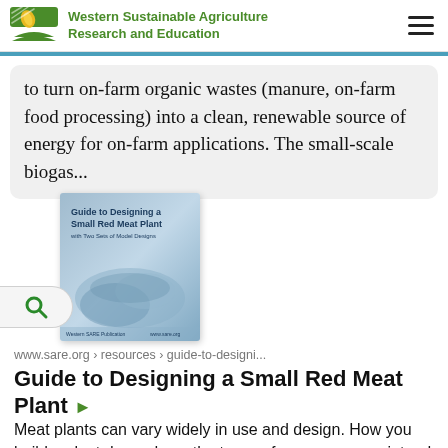SARE - Western Sustainable Agriculture Research and Education
to turn on-farm organic wastes (manure, on-farm food processing) into a clean, renewable source of energy for on-farm applications. The small-scale biogas...
[Figure (photo): Book cover: Guide to Designing a Small Red Meat Plant with Two Sets of Model Designs]
www.sare.org › resources › guide-to-designi...
Guide to Designing a Small Red Meat Plant ▶
Meat plants can vary widely in use and design. How you build a plant depends on the types of processes you intend to have as part of your...